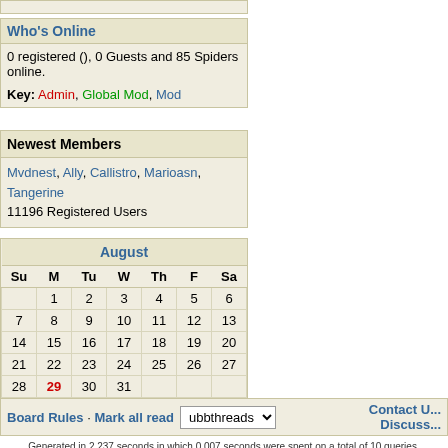Who's Online
0 registered (), 0 Guests and 85 Spiders online.
Key: Admin, Global Mod, Mod
Newest Members
Mvdnest, Ally, Callistro, Marioasn, Tangerine
11196 Registered Users
| Su | M | Tu | W | Th | F | Sa |
| --- | --- | --- | --- | --- | --- | --- |
|  | 1 | 2 | 3 | 4 | 5 | 6 |
| 7 | 8 | 9 | 10 | 11 | 12 | 13 |
| 14 | 15 | 16 | 17 | 18 | 19 | 20 |
| 21 | 22 | 23 | 24 | 25 | 26 | 27 |
| 28 | 29 | 30 | 31 |  |  |  |
Board Rules · Mark all read  ubbthreads  Contact U... Discuss...
Generated in 2.237 seconds in which 0.007 seconds were spent on a total of 10 queries. Zlib compression enabled. Powered by UBB.threads™ 7.5.6